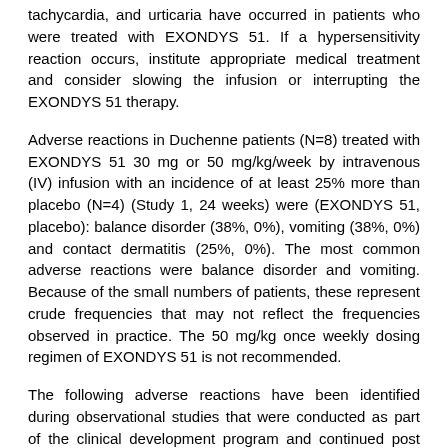tachycardia, and urticaria have occurred in patients who were treated with EXONDYS 51. If a hypersensitivity reaction occurs, institute appropriate medical treatment and consider slowing the infusion or interrupting the EXONDYS 51 therapy.
Adverse reactions in Duchenne patients (N=8) treated with EXONDYS 51 30 mg or 50 mg/kg/week by intravenous (IV) infusion with an incidence of at least 25% more than placebo (N=4) (Study 1, 24 weeks) were (EXONDYS 51, placebo): balance disorder (38%, 0%), vomiting (38%, 0%) and contact dermatitis (25%, 0%). The most common adverse reactions were balance disorder and vomiting. Because of the small numbers of patients, these represent crude frequencies that may not reflect the frequencies observed in practice. The 50 mg/kg once weekly dosing regimen of EXONDYS 51 is not recommended.
The following adverse reactions have been identified during observational studies that were conducted as part of the clinical development program and continued post approval.